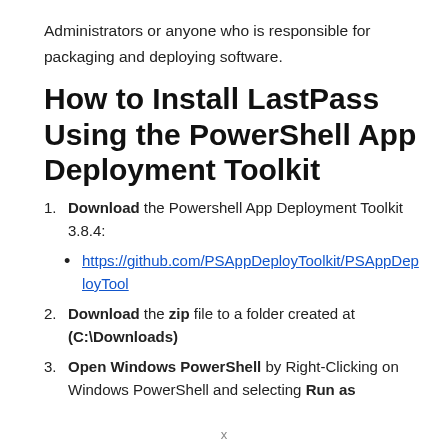Administrators or anyone who is responsible for packaging and deploying software.
How to Install LastPass Using the PowerShell App Deployment Toolkit
Download the Powershell App Deployment Toolkit 3.8.4:
https://github.com/PSAppDeployToolkit/PSAppDeployTool...
Download the zip file to a folder created at (C:\Downloads)
Open Windows PowerShell by Right-Clicking on Windows PowerShell and selecting Run as